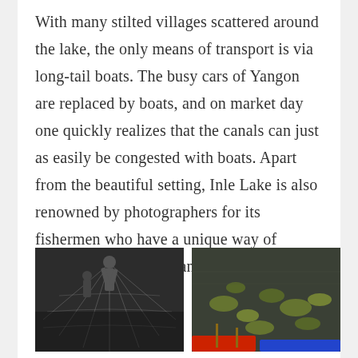With many stilted villages scattered around the lake, the only means of transport is via long-tail boats. The busy cars of Yangon are replaced by boats, and on market day one quickly realizes that the canals can just as easily be congested with boats. Apart from the beautiful setting, Inle Lake is also renowned by photographers for its fishermen who have a unique way of fishing whilst rowing and balancing the boat with one leg.
[Figure (photo): Black and white photograph of fishermen with nets at Inle Lake]
[Figure (photo): Color photograph of floating garden or market produce on water at Inle Lake]